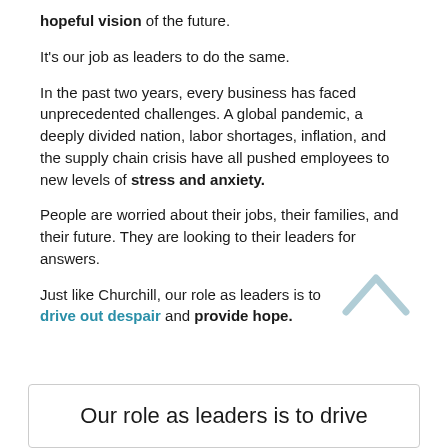hopeful vision of the future.
It's our job as leaders to do the same.
In the past two years, every business has faced unprecedented challenges. A global pandemic, a deeply divided nation, labor shortages, inflation, and the supply chain crisis have all pushed employees to new levels of stress and anxiety.
People are worried about their jobs, their families, and their future. They are looking to their leaders for answers.
Just like Churchill, our role as leaders is to drive out despair and provide hope.
Our role as leaders is to drive